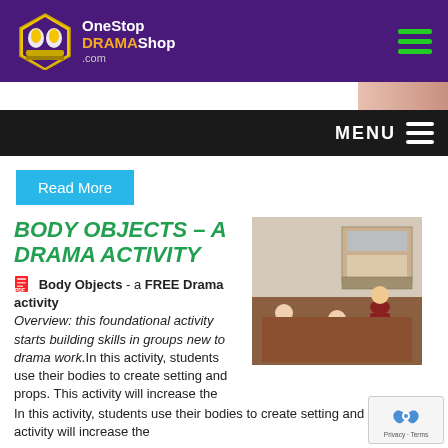OneStop DRAMA Shop .com
MENU
Read More
BODY OBJECTS – A DRAMA ACTIVITY
[Figure (photo): Three students in a classroom doing a body objects drama activity, forming shapes with their bodies on the floor]
Body Objects - a FREE Drama activity Overview: this foundational activity starts building skills in groups new to drama work.In this activity, students use their bodies to create setting and props. This activity will increase the